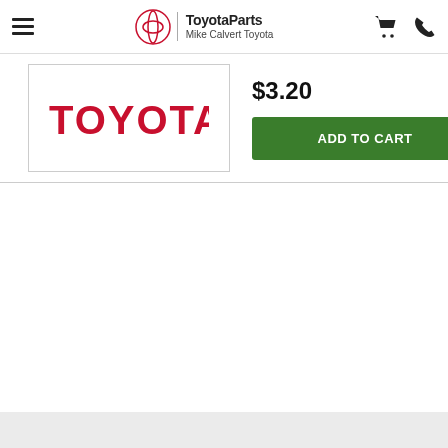ToyotaParts Mike Calvert Toyota
[Figure (logo): Toyota logo wordmark in red on white background inside a bordered box]
$3.20
ADD TO CART